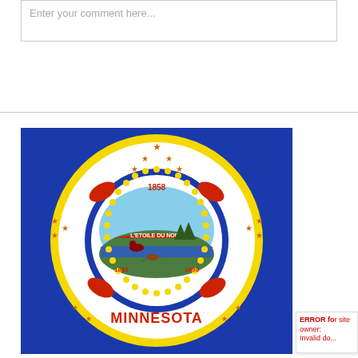Enter your comment here...
[Figure (photo): Minnesota state flag showing the state seal on a blue background. The circular seal features 'MINNESOTA' in red letters at the bottom, years 1858, 1819, and 1893, the motto 'L'ETOILE DU NORD', a farmer plowing, a Native American on horseback, pine trees, a lake, and decorative stars and floral elements surrounding the central seal on a white and yellow circular field.]
ERROR for site owner: Invalid do...